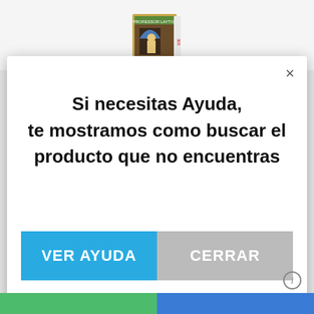[Figure (screenshot): Nintendo 3DS game box cover for Professor Layton and Azran Legacy shown at top center of the page]
[Figure (screenshot): Modal dialog popup with white background on a grey page background]
Si necesitas Ayuda, te mostramos como buscar el producto que no encuentras
VER AYUDA
CERRAR